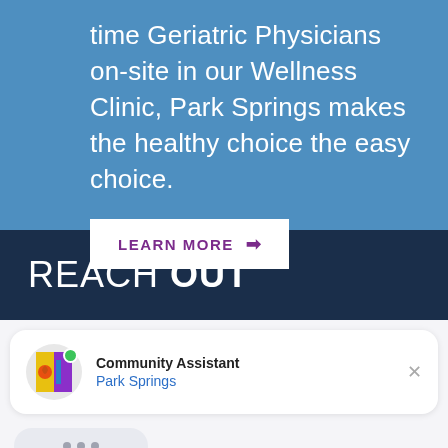time Geriatric Physicians on-site in our Wellness Clinic, Park Springs makes the healthy choice the easy choice.
LEARN MORE →
REACH OUT
Community Assistant
Park Springs
[Figure (screenshot): Chat widget with Park Springs Community Assistant showing typing indicator (three dots)]